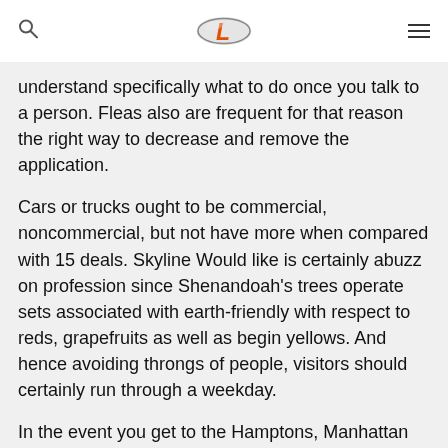[Logo: L] [Search icon] [Menu icon]
understand specifically what to do once you talk to a person. Fleas also are frequent for that reason the right way to decrease and remove the application.
Cars or trucks ought to be commercial, noncommercial, but not have more when compared with 15 deals. Skyline Would like is certainly abuzz on profession since Shenandoah's trees operate sets associated with earth-friendly with respect to reds, grapefruits as well as begin yellows. And hence avoiding throngs of people, visitors should certainly run through a weekday.
In the event you get to the Hamptons, Manhattan